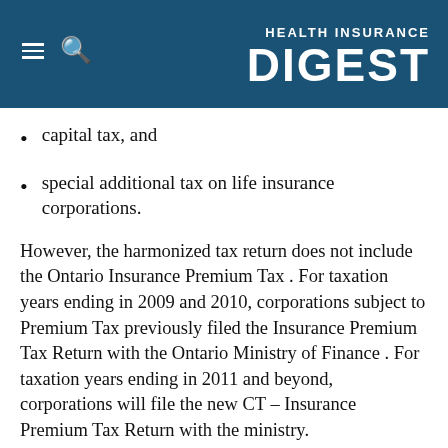HEALTH INSURANCE DIGEST
capital tax, and
special additional tax on life insurance corporations.
However, the harmonized tax return does not include the Ontario Insurance Premium Tax . For taxation years ending in 2009 and 2010, corporations subject to Premium Tax previously filed the Insurance Premium Tax Return with the Ontario Ministry of Finance . For taxation years ending in 2011 and beyond, corporations will file the new CT – Insurance Premium Tax Return with the ministry.
Don't Miss:  Insurance Lapse Between Jobs